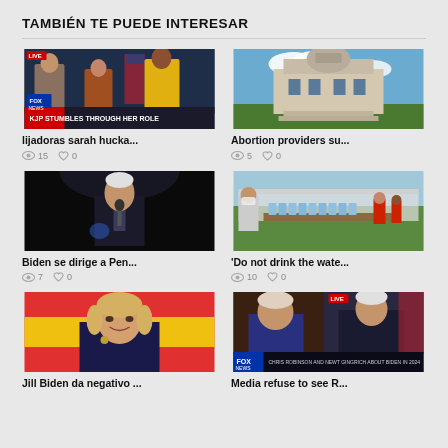TAMBIÉN TE PUEDE INTERESAR
[Figure (screenshot): Fox News live broadcast screenshot showing KJP STUMBLES THROUGH HER ROLE]
lijadoras sarah hucka...
15   0
[Figure (photo): Historic courthouse building with blue sky and trees]
Abortion providers su...
5   0
[Figure (photo): Biden at podium in dark setting]
Biden se dirige a Pen...
7   0
[Figure (photo): Outdoor scene with water bottles on table]
'Do not drink the wate...
10   0
[Figure (photo): Jill Biden smiling in front of colorful flags]
Jill Biden da negativo ...
[Figure (screenshot): Fox News broadcast showing Newt Gingrich and Biden]
Media refuse to see R...